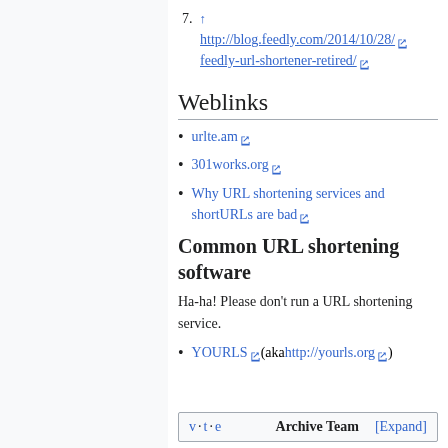7. ↑ http://blog.feedly.com/2014/10/28/feedly-url-shortener-retired/
Weblinks
urlte.am
301works.org
Why URL shortening services and shortURLs are bad
Common URL shortening software
Ha-ha! Please don't run a URL shortening service.
YOURLS (aka http://yourls.org )
v · t · e   Archive Team   [Expand]